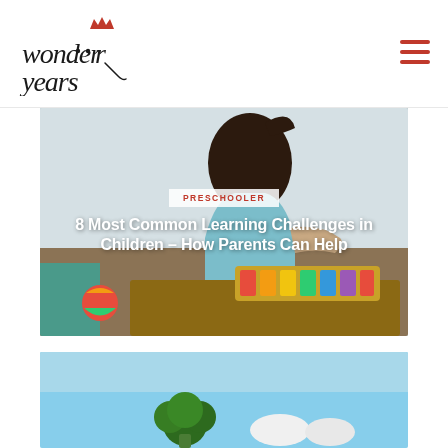[Figure (logo): Wonder Years logo in handwritten black script with small red crown above the 'o' in wonder]
[Figure (photo): Young child with ponytail playing xylophone on a table, wearing a light blue outfit. Category label PRESCHOOLER in red on white background overlay, with bold white article title '8 Most Common Learning Challenges in Children – How Parents Can Help']
PRESCHOOLER
8 Most Common Learning Challenges in Children – How Parents Can Help
[Figure (photo): Partial view of food items on a light blue background, including broccoli and what appears to be white food items, partially cut off at page bottom]